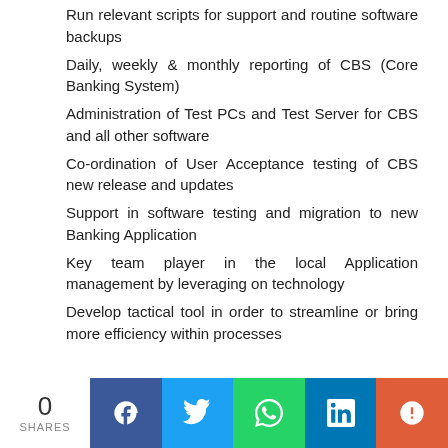Run relevant scripts for support and routine software backups
Daily, weekly & monthly reporting of CBS (Core Banking System)
Administration of Test PCs and Test Server for CBS and all other software
Co-ordination of User Acceptance testing of CBS new release and updates
Support in software testing and migration to new Banking Application
Key team player in the local Application management by leveraging on technology
Develop tactical tool in order to streamline or bring more efficiency within processes
0 SHARES | Facebook | Twitter | WhatsApp | LinkedIn | More